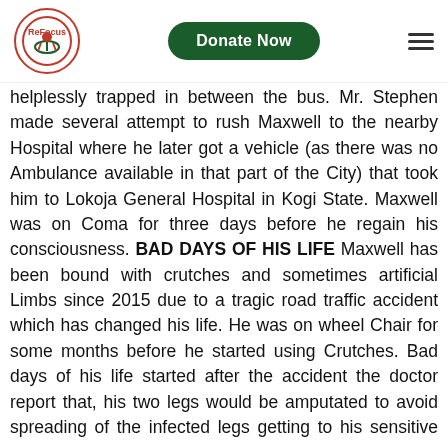Donate Now
helplessly trapped in between the bus. Mr. Stephen made several attempt to rush Maxwell to the nearby Hospital where he later got a vehicle (as there was no Ambulance available in that part of the City) that took him to Lokoja General Hospital in Kogi State. Maxwell was on Coma for three days before he regain his consciousness. BAD DAYS OF HIS LIFE Maxwell has been bound with crutches and sometimes artificial Limbs since 2015 due to a tragic road traffic accident which has changed his life. He was on wheel Chair for some months before he started using Crutches. Bad days of his life started after the accident the doctor report that, his two legs would be amputated to avoid spreading of the infected legs getting to his sensitive organs.